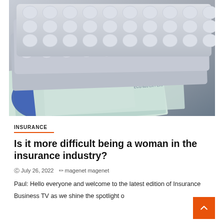[Figure (photo): Stack of pharmaceutical pill blister packs lying on top of Euro banknotes and documents]
INSURANCE
Is it more difficult being a woman in the insurance industry?
July 26, 2022   magenet magenet
Paul: Hello everyone and welcome to the latest edition of Insurance Business TV as we shine the spotlight on